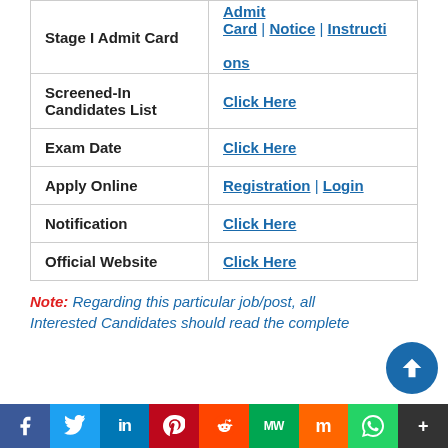|  |  |
| --- | --- |
| Stage I Admit Card | Admit Card | Notice | Instructions |
| Screened-In Candidates List | Click Here |
| Exam Date | Click Here |
| Apply Online | Registration | Login |
| Notification | Click Here |
| Official Website | Click Here |
Note: Regarding this particular job/post, all Interested Candidates should read the complete